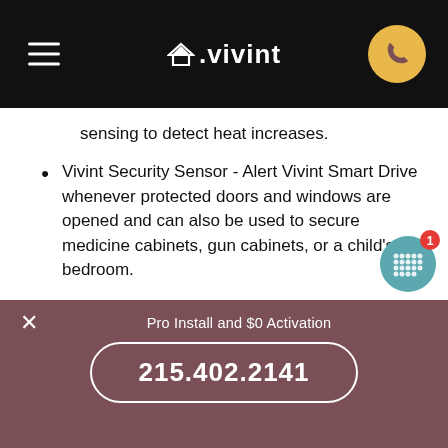Vivint
sensing to detect heat increases.
Vivint Security Sensor - Alert Vivint Smart Drive whenever protected doors and windows are opened and can also be used to secure medicine cabinets, gun cabinets, or a child's bedroom.
Carbon monoxide gas leaks, electrical fires, flooded basements, and frozen pipes are all possibilities in an Ingomar home. The in-house professional monitoring staff that supports Vivint security systems consistently provides industry
Pro Install and $0 Activation
215.402.2141